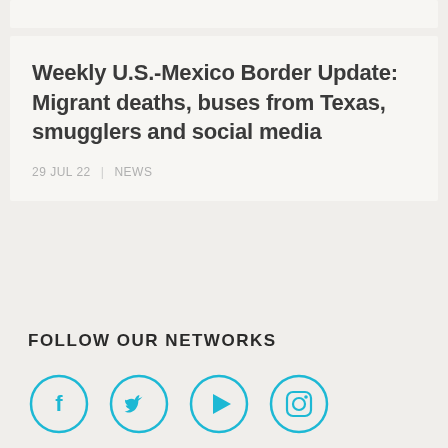Weekly U.S.-Mexico Border Update: Migrant deaths, buses from Texas, smugglers and social media
29 JUL 22  |  NEWS
FOLLOW OUR NETWORKS
[Figure (illustration): Four social media icons in cyan circles: Facebook (f), Twitter (bird), YouTube/Play (triangle), Instagram (camera)]